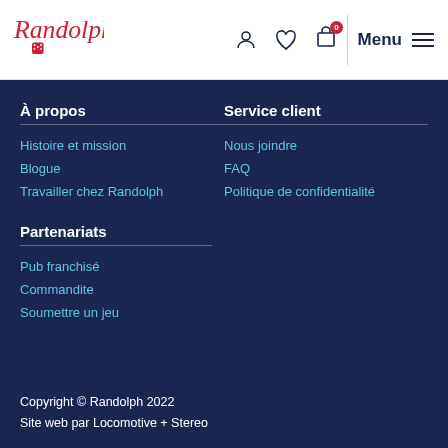Randolph — navigation header with logo, icons (user, wishlist, cart), Menu
À propos
Histoire et mission
Blogue
Travailler chez Randolph
Service client
Nous joindre
FAQ
Politique de confidentialité
Partenariats
Pub franchisé
Commandite
Soumettre un jeu
Copyright © Randolph 2022
Site web par Locomotive + Stereo